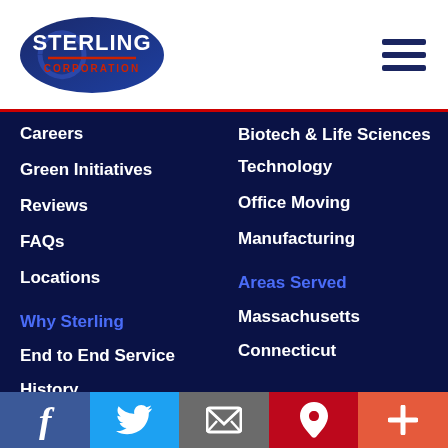[Figure (logo): Sterling Corporation logo on white header with hamburger menu icon]
Careers
Green Initiatives
Reviews
FAQs
Locations
Biotech & Life Sciences
Technology
Office Moving
Manufacturing
Why Sterling
Areas Served
End to End Service
History
Massachusetts
Connecticut